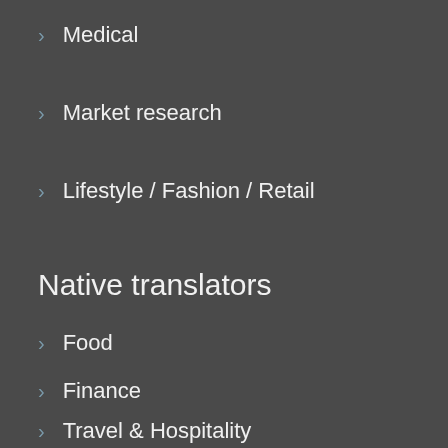Medical
Market research
Lifestyle / Fashion / Retail
Native translators
Food
Finance
Travel & Hospitality